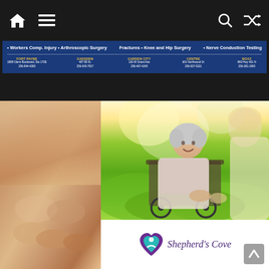Navigation bar with home, menu, search, and shuffle icons
[Figure (infographic): Blue medical services advertisement banner listing: Workers Comp. Injury, Arthroscopic Surgery, Fractures, Knee and Hip Surgery, Nerve Conduction Testing. Locations: Fort Payne, Gadsden, Garden City, Centre, Boaz with addresses and phone numbers.]
[Figure (photo): Close-up photo of hands holding feet, warm brown tones, medical/caregiving context]
[Figure (photo): Photo of elderly woman in wheelchair smiling outdoors in sunny green garden, being attended to by caregiver]
[Figure (logo): Shepherd's Cove logo with teal and purple heart/person icon and italic serif text reading Shepherd's Cove]